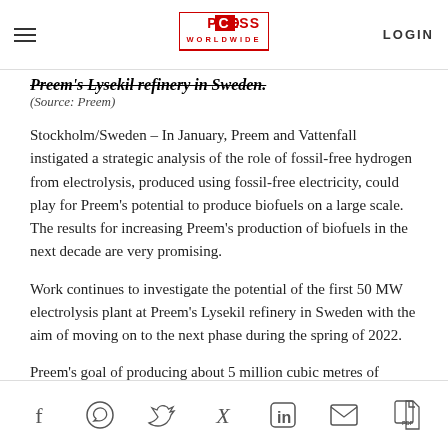PROCESS WORLDWIDE — LOGIN
Preem's Lysekil refinery in Sweden. (Source: Preem)
Stockholm/Sweden – In January, Preem and Vattenfall instigated a strategic analysis of the role of fossil-free hydrogen from electrolysis, produced using fossil-free electricity, could play for Preem's potential to produce biofuels on a large scale. The results for increasing Preem's production of biofuels in the next decade are very promising.
Work continues to investigate the potential of the first 50 MW electrolysis plant at Preem's Lysekil refinery in Sweden with the aim of moving on to the next phase during the spring of 2022.
Preem's goal of producing about 5 million cubic metres of biofuels by 2030 can reduce transport emissions by up to 12.5 million tons of CO2, corresponding to about 20 per cent of
Social share icons: Facebook, WhatsApp, Twitter, Xing, LinkedIn, Email, PDF